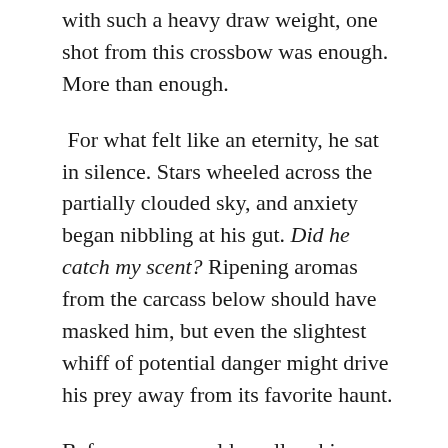with such a heavy draw weight, one shot from this crossbow was enough. More than enough.
For what felt like an eternity, he sat in silence. Stars wheeled across the partially clouded sky, and anxiety began nibbling at his gut. Did he catch my scent? Ripening aromas from the carcass below should have masked him, but even the slightest whiff of potential danger might drive his prey away from its favorite haunt.
Before worry could swallow him up, Owen heard the sweetest sound anyone hunting man-eaters could ask for: the snorting alarm of a deer. But it sounded...off. Halting. Almost